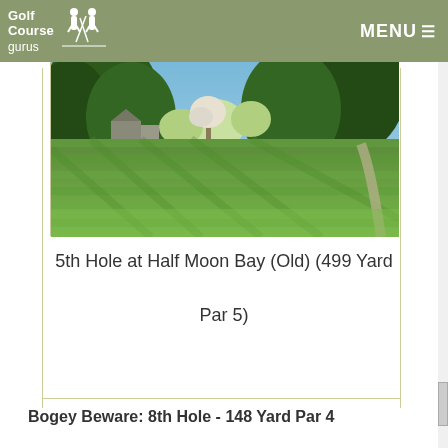Golf Course gurus  MENU
[Figure (photo): Golf course fairway photo showing green grass, trees, and blue sky - 5th Hole at Half Moon Bay Old Course]
5th Hole at Half Moon Bay (Old) (499 Yard Par 5)
Bogey Beware: 8th Hole - 148 Yard Par 4